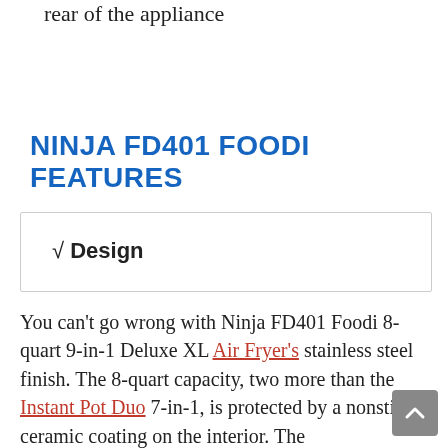rear of the appliance
NINJA FD401 FOODI FEATURES
√ Design
You can't go wrong with Ninja FD401 Foodi 8-quart 9-in-1 Deluxe XL Air Fryer's stainless steel finish. The 8-quart capacity, two more than the Instant Pot Duo 7-in-1, is protected by a nonstick ceramic coating on the interior. The...